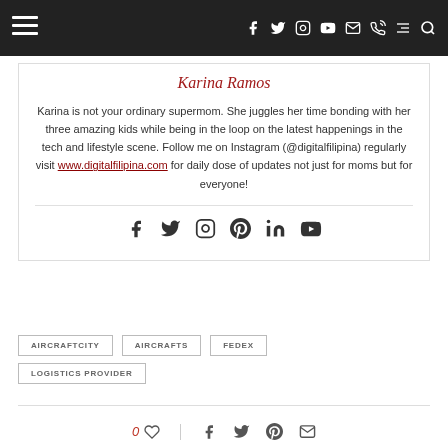Navigation bar with hamburger menu and social icons
Karina Ramos
Karina is not your ordinary supermom. She juggles her time bonding with her three amazing kids while being in the loop on the latest happenings in the tech and lifestyle scene. Follow me on Instagram (@digitalfilipina) regularly visit www.digitalfilipina.com for daily dose of updates not just for moms but for everyone!
[Figure (other): Social media icons: facebook, twitter, instagram, pinterest, linkedin, youtube]
AIRCRAFTCITY
AIRCRAFTS
FEDEX
LOGISTICS PROVIDER
0 likes, share icons for facebook, twitter, pinterest, email